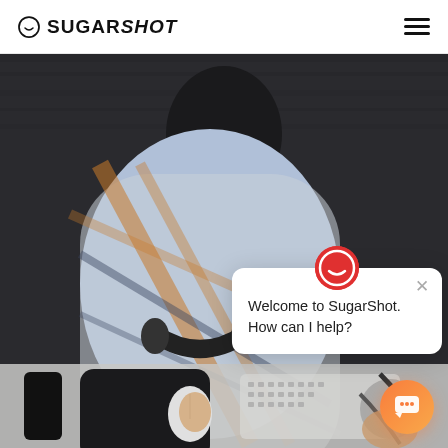SUGARSHOT
[Figure (photo): Overhead/top-down view of a person in a plaid shirt slouched over a desk with a computer mouse, keyboard, headphones, and various desk items, dark wood background]
[Figure (screenshot): Chat popup widget with red avatar icon showing SugarShot logo, close (X) button, and message: 'Welcome to SugarShot. How can I help?']
Welcome to SugarShot. How can I help?